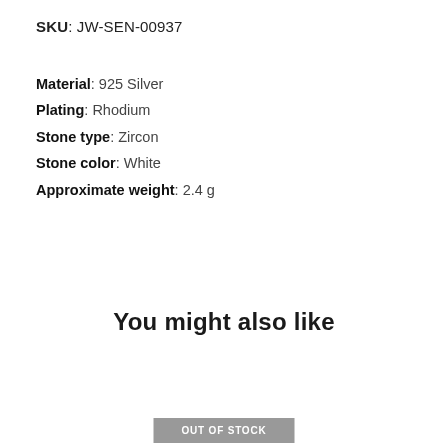SKU: JW-SEN-00937
Material: 925 Silver
Plating: Rhodium
Stone type: Zircon
Stone color: White
Approximate weight: 2.4 g
You might also like
OUT OF STOCK